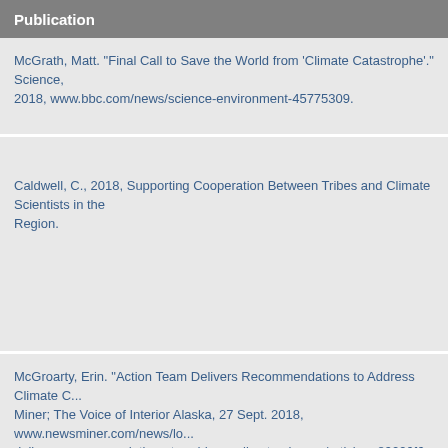Publication
McGrath, Matt. "Final Call to Save the World from 'Climate Catastrophe'." Science, 2018, www.bbc.com/news/science-environment-45775309.
Caldwell, C., 2018, Supporting Cooperation Between Tribes and Climate Scientists in the Region.
McGroarty, Erin. "Action Team Delivers Recommendations to Address Climate C... Miner; The Voice of Interior Alaska, 27 Sept. 2018, www.newsminer.com/news/lo... delivers-recommendations-to-address-climate-change/article_a89096f6-c22d-11... 6b58428ad670.html.
Lake, Frank K.; Giardina, Christian P.; Parrotta, John A.; Davidson-Hunt, Iain. 20... knowledge systems in forest landscape restoration. In: Mansourian, S., Parrotta...